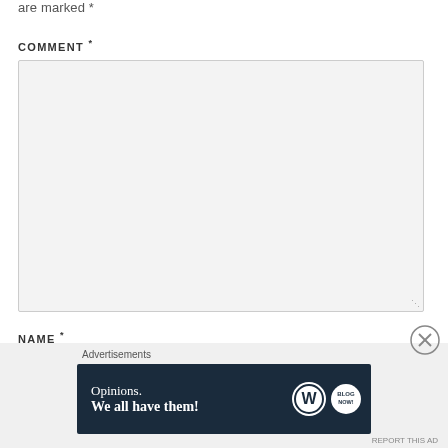are marked *
COMMENT *
[Figure (screenshot): Empty comment textarea form field with light gray background and resize handle]
NAME *
[Figure (other): Advertisement banner: 'Opinions. We all have them!' with WordPress and blog logos on dark navy background]